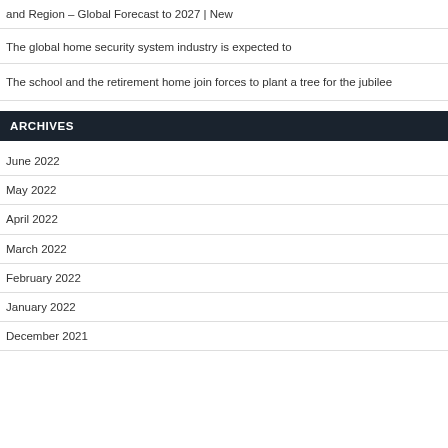and Region – Global Forecast to 2027 | New
The global home security system industry is expected to
The school and the retirement home join forces to plant a tree for the jubilee
ARCHIVES
June 2022
May 2022
April 2022
March 2022
February 2022
January 2022
December 2021